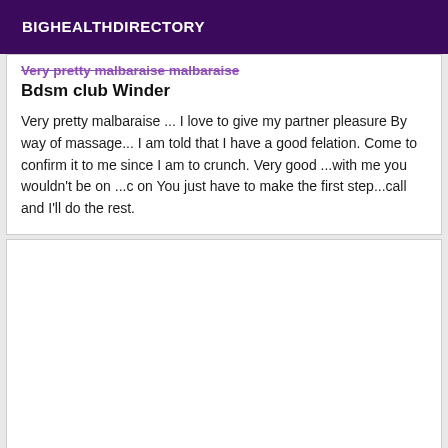BIGHEALTHDIRECTORY
Bdsm club Winder
Very pretty malbaraise ... I love to give my partner pleasure By way of massage... I am told that I have a good felation. Come to confirm it to me since I am to crunch. Very good ...with me you wouldn't be on ...c on You just have to make the first step...call and I'll do the rest.